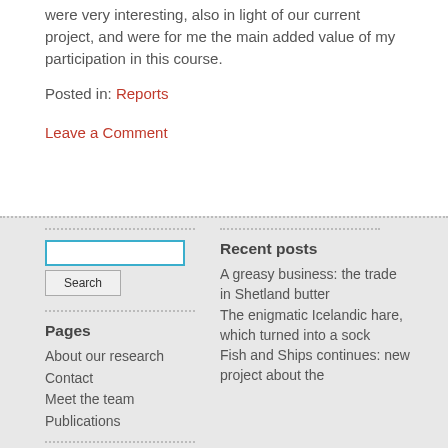were very interesting, also in light of our current project, and were for me the main added value of my participation in this course.
Posted in: Reports
Leave a Comment
Pages
About our research
Contact
Meet the team
Publications
Recent posts
A greasy business: the trade in Shetland butter
The enigmatic Icelandic hare, which turned into a sock
Fish and Ships continues: new project about the